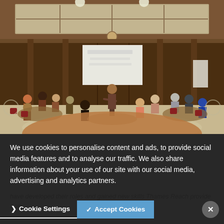[Figure (photo): A training or workshop session in a grand hall with wood paneling and large windows. A presenter stands at the front near a projection screen while participants sit around tables in a semicircle arrangement. Chairs are maroon/burgundy colored.]
We use cookies to personalise content and ads, to provide social media features and to analyse our traffic. We also share information about your use of our site with our social media, advertising and analytics partners.
Cookie Settings   Accept Cookies
have developed their roles and gained new skills... Thames Reach provide a year... one of